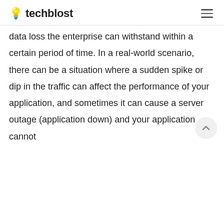💡 techblost
data loss the enterprise can withstand within a certain period of time. In a real-world scenario, there can be a situation where a sudden spike or dip in the traffic can affect the performance of your application, and sometimes it can cause a server outage (application down) and your application cannot